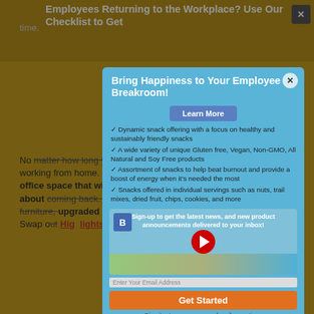Employees Returning to the Workplace? Use Our Checklist to Get
5.
No matter how long your employees have been working from home. Make some upgrades to your office space that will make employees excited about coming back. Replace old office furniture, upgraded maintenance and equipment. Swap out
Nespresso machines for the latest state-of-the-art
Whether you are a business owner keeping an eye on the expense of the office is important. If you are the boss, take care of yourself too and let your employees work. Don't hesitate to reach out to B
[Figure (screenshot): Popup modal overlay with blue background titled 'Bring Happiness to Your Employee Breakroom!' with a close button (x), a Learn More button, a bulleted list of snack service features, a video thumbnail with Bootstrap B icon and YouTube play button, subscribe text, email input, Get Started orange button, and unsubscribe note. Background shows a webpage about employees returning to workplace.]
Bring Happiness to Your Employee Breakroom!
Dynamic snack offering with a focus on healthy and sustainably friendly snacks
A wide variety of unique Gluten free, Vegan, Non-GMO, All Natural and Soy Free products
Assortment of snacks to help beat burnout and provide a boost of energy when it's needed the most
Snacks offered in individual servings such as nuts, trail mixes, dried fruit, chips, cookies, and more
Sign-up to get the latest news and new product announcements delivered to your inbox!
Get Started
Give it a try, you can unsubscribe anytime.